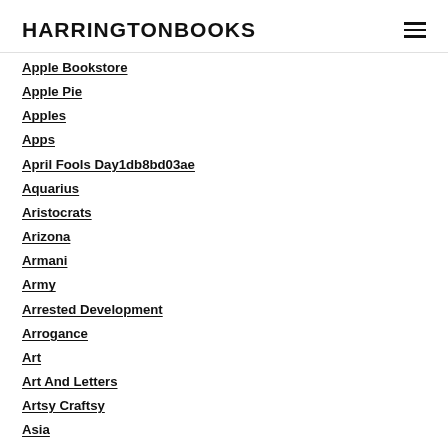HARRINGTONBOOKS
Apple Bookstore
Apple Pie
Apples
Apps
April Fools Day1db8bd03ae
Aquarius
Aristocrats
Arizona
Armani
Army
Arrested Development
Arrogance
Art
Art And Letters
Artsy Craftsy
Asia